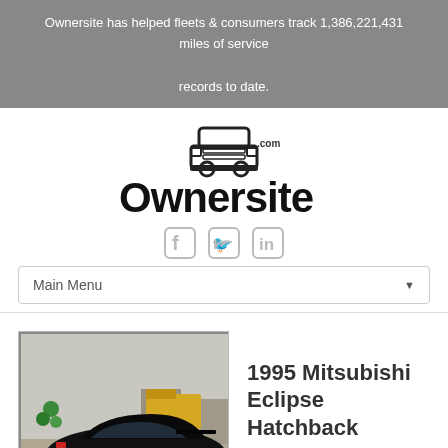Ownersite has helped fleets & consumers track 1,386,221,431 miles of service records to date.
[Figure (logo): Ownersite.com logo with truck icon above the text]
[Figure (other): Social media icons: Facebook, Twitter, LinkedIn]
Main Menu
[Figure (photo): A black 1995 Mitsubishi Eclipse Hatchback parked outdoors, rear three-quarter view]
1995 Mitsubishi Eclipse Hatchback
Owner Contact Information